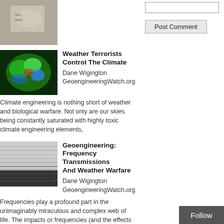[Figure (photo): Partial thumbnail image at top left, showing a labeled container or dish]
[Figure (other): Input text box for comment and Post Comment button in right column]
Post Comment
Weather Terrorists Control The Climate
[Figure (photo): Satellite or radar image showing green and blue storm/hurricane structure]
Dane Wigington
GeoengineeringWatch.org
Climate engineering is nothing short of weather and biological warfare. Not only are our skies being constantly saturated with highly toxic climate engineering elements,
Geoengineering: Frequency Transmissions And Weather Warfare
[Figure (photo): Black and white satellite image showing frequency wave patterns and dark band]
Dane Wigington
GeoengineeringWatch.org
Frequencies play a profound part in the unimaginably miraculous and complex web of life. The impacts or frequencies (and the effects they can create)
Geoengineering, Square Clouds, And Massive Microwave Transmissions
[Figure (photo): Dark blue/purple satellite image showing spiral cloud formation]
Dane Wigington
Follow